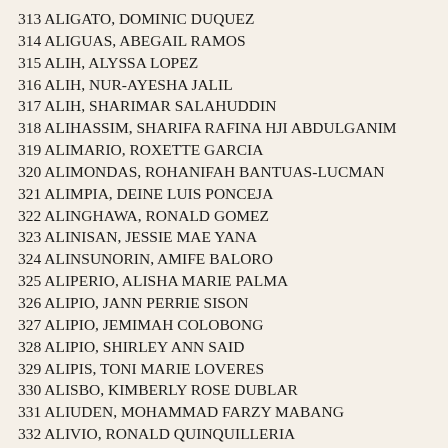313 ALIGATO, DOMINIC DUQUEZ
314 ALIGUAS, ABEGAIL RAMOS
315 ALIH, ALYSSA LOPEZ
316 ALIH, NUR-AYESHA JALIL
317 ALIH, SHARIMAR SALAHUDDIN
318 ALIHASSIM, SHARIFA RAFINA HJI ABDULGANIM
319 ALIMARIO, ROXETTE GARCIA
320 ALIMONDAS, ROHANIFAH BANTUAS-LUCMAN
321 ALIMPIA, DEINE LUIS PONCEJA
322 ALINGHAWA, RONALD GOMEZ
323 ALINISAN, JESSIE MAE YANA
324 ALINSUNORIN, AMIFE BALORO
325 ALIPERIO, ALISHA MARIE PALMA
326 ALIPIO, JANN PERRIE SISON
327 ALIPIO, JEMIMAH COLOBONG
328 ALIPIO, SHIRLEY ANN SAID
329 ALIPIS, TONI MARIE LOVERES
330 ALISBO, KIMBERLY ROSE DUBLAR
331 ALIUDEN, MOHAMMAD FARZY MABANG
332 ALIVIO, RONALD QUINQUILLERIA
333 ALIÑO, EDWARD NICHOLAS
334 ALLAGA, CHARMAINE ANN NCIROL